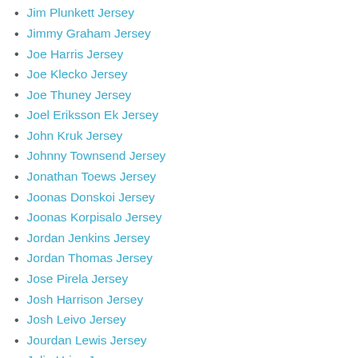Jim Plunkett Jersey
Jimmy Graham Jersey
Joe Harris Jersey
Joe Klecko Jersey
Joe Thuney Jersey
Joel Eriksson Ek Jersey
John Kruk Jersey
Johnny Townsend Jersey
Jonathan Toews Jersey
Joonas Donskoi Jersey
Joonas Korpisalo Jersey
Jordan Jenkins Jersey
Jordan Thomas Jersey
Jose Pirela Jersey
Josh Harrison Jersey
Josh Leivo Jersey
Jourdan Lewis Jersey
Julio Urias Jersey
Justin Bethel Jersey
Justin Faulk Jersey